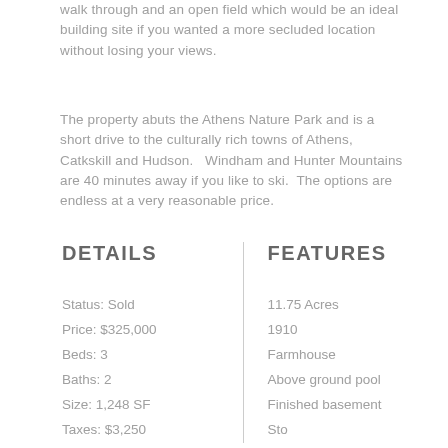walk through and an open field which would be an ideal building site if you wanted a more secluded location without losing your views.
The property abuts the Athens Nature Park and is a short drive to the culturally rich towns of Athens, Catkskill and Hudson.   Windham and Hunter Mountains are 40 minutes away if you like to ski.  The options are endless at a very reasonable price.
DETAILS
FEATURES
Status: Sold
Price: $325,000
Beds: 3
Baths: 2
Size: 1,248 SF
Taxes: $3,250
11.75 Acres
1910
Farmhouse
Above ground pool
Finished basement
Sto...